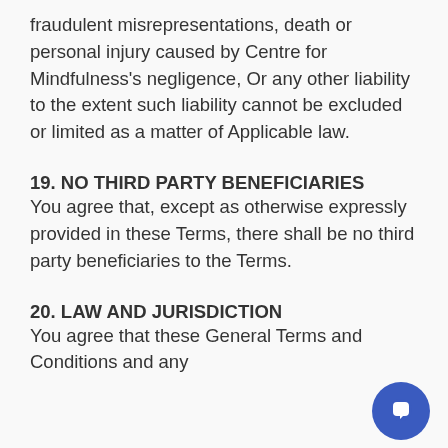fraudulent misrepresentations, death or personal injury caused by Centre for Mindfulness's negligence, Or any other liability to the extent such liability cannot be excluded or limited as a matter of Applicable law.
19. NO THIRD PARTY BENEFICIARIES
You agree that, except as otherwise expressly provided in these Terms, there shall be no third party beneficiaries to the Terms.
20. LAW AND JURISDICTION
You agree that these General Terms and Conditions and any